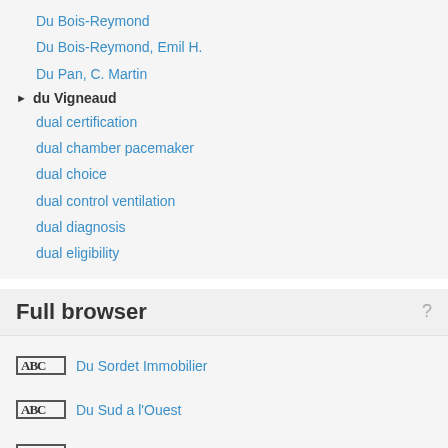Du Bois-Reymond
Du Bois-Reymond, Emil H.
Du Pan, C. Martin
du Vigneaud
dual certification
dual chamber pacemaker
dual choice
dual control ventilation
dual diagnosis
dual eligibility
Full browser
Du Sordet Immobilier
Du Sud a l'Ouest
Du Teil Saint Gal
du Vigneaud
du Vigneaud, Vincent